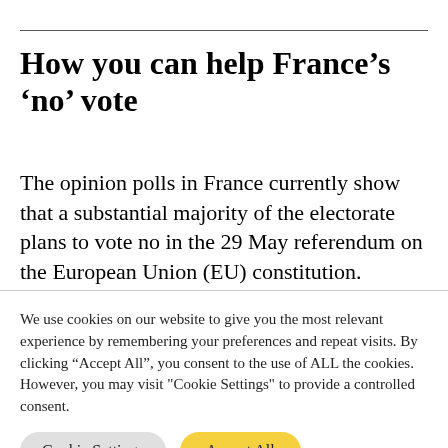How you can help France's 'no' vote
The opinion polls in France currently show that a substantial majority of the electorate plans to vote no in the 29 May referendum on the European Union (EU) constitution.
We use cookies on our website to give you the most relevant experience by remembering your preferences and repeat visits. By clicking "Accept All", you consent to the use of ALL the cookies. However, you may visit "Cookie Settings" to provide a controlled consent.